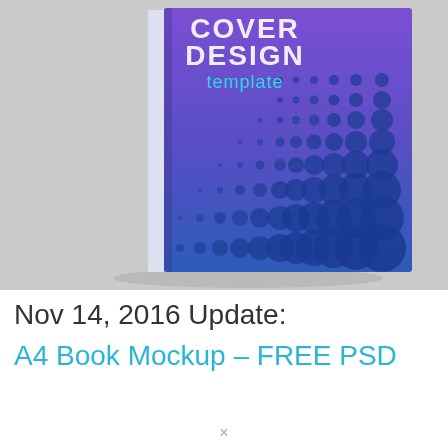[Figure (photo): A hardcover book with a purple-to-blue gradient cover design. The cover shows the text 'COVER DESIGN template' with a halftone dot pattern. The book is photographed from above on a light gray concrete surface.]
Nov 14, 2016 Update:
A4 Book Mockup – FREE PSD